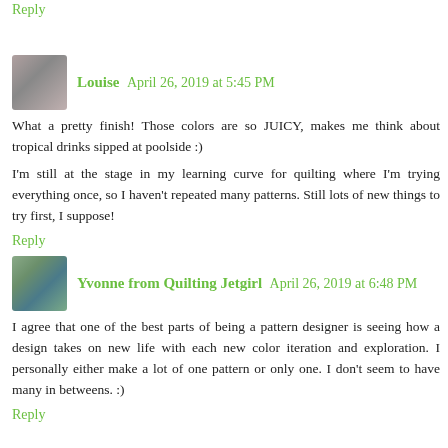Reply
Louise  April 26, 2019 at 5:45 PM
What a pretty finish! Those colors are so JUICY, makes me think about tropical drinks sipped at poolside :)
I'm still at the stage in my learning curve for quilting where I'm trying everything once, so I haven't repeated many patterns. Still lots of new things to try first, I suppose!
Reply
Yvonne from Quilting Jetgirl  April 26, 2019 at 6:48 PM
I agree that one of the best parts of being a pattern designer is seeing how a design takes on new life with each new color iteration and exploration. I personally either make a lot of one pattern or only one. I don't seem to have many in betweens. :)
Reply